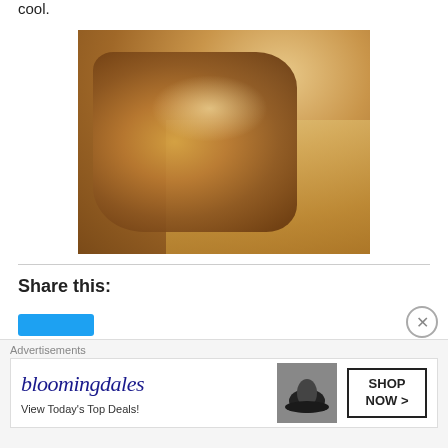cool.
[Figure (photo): A piece of toasted bread with toppings (possibly honey or marmalade with chunks) on a wooden cutting board, shot close-up from above.]
Share this:
[Figure (other): Blue social share button (partial)]
[Figure (other): Close button (X in circle) in top right]
Advertisements
[Figure (other): Bloomingdale's advertisement banner: 'bloomingdales View Today's Top Deals!' with image of woman in hat and 'SHOP NOW >' button]